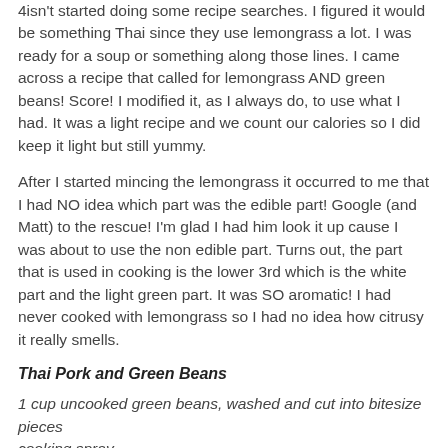4isn't started doing some recipe searches. I figured it would be something Thai since they use lemongrass a lot. I was ready for a soup or something along those lines. I came across a recipe that called for lemongrass AND green beans! Score! I modified it, as I always do, to use what I had. It was a light recipe and we count our calories so I did keep it light but still yummy.
After I started mincing the lemongrass it occurred to me that I had NO idea which part was the edible part! Google (and Matt) to the rescue! I'm glad I had him look it up cause I was about to use the non edible part. Turns out, the part that is used in cooking is the lower 3rd which is the white part and the light green part. It was SO aromatic! I had never cooked with lemongrass so I had no idea how citrusy it really smells.
Thai Pork and Green Beans
1 cup uncooked green beans, washed and cut into bitesize pieces
cooking spray
1 large garlic clove, minced
1 cup light coconut milk, divided
2 tbsp green curry paste
1 tbsp packed light brown sugar